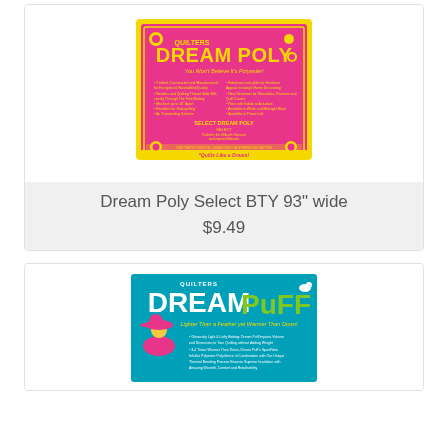[Figure (photo): Product packaging for Quilters Dream Poly Select batting, pink and yellow package with flowers]
Dream Poly Select BTY 93" wide
$9.49
[Figure (photo): Product packaging for Quilters Dream Puff batting, teal/blue package with green text and illustrated figure]